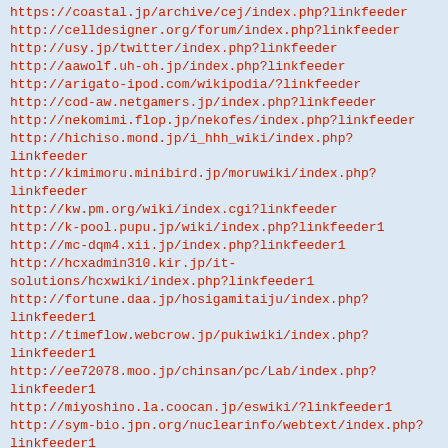https://coastal.jp/archive/cej/index.php?linkfeeder
http://celldesigner.org/forum/index.php?linkfeeder
http://usy.jp/twitter/index.php?linkfeeder
http://aawolf.uh-oh.jp/index.php?linkfeeder
http://arigato-ipod.com/wikipodia/?linkfeeder
http://cod-aw.netgamers.jp/index.php?linkfeeder
http://nekomimi.flop.jp/nekofes/index.php?linkfeeder
http://hichiso.mond.jp/i_hhh_wiki/index.php?linkfeeder
http://kimimoru.minibird.jp/moruwiki/index.php?linkfeeder
http://kw.pm.org/wiki/index.cgi?linkfeeder
http://k-pool.pupu.jp/wiki/index.php?linkfeeder1
http://mc-dqm4.xii.jp/index.php?linkfeeder1
http://hcxadmin310.kir.jp/it-solutions/hcxwiki/index.php?linkfeeder1
http://fortune.daa.jp/hosigamitaiju/index.php?linkfeeder1
http://timeflow.webcrow.jp/pukiwiki/index.php?linkfeeder1
http://ee72078.moo.jp/chinsan/pc/Lab/index.php?linkfeeder1
http://miyoshino.la.coocan.jp/eswiki/?linkfeeder1
http://sym-bio.jpn.org/nuclearinfo/webtext/index.php?linkfeeder1
http://seoartdesign.main.jp/unity/index.php?linkfeeder1
http://fusion0202.s602.xrea.com/mypukiwiki/index.php?linkfeeder1